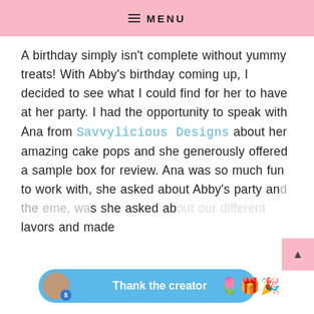MENU
A birthday simply isn't complete without yummy treats! With Abby's birthday coming up, I decided to see what I could find for her to have at her party. I had the opportunity to speak with Ana from Savvylicious Designs about her amazing cake pops and she generously offered a sample box for review. Ana was so much fun to work with, she asked about Abby's party and the theme, was she asked about our different flavors and made